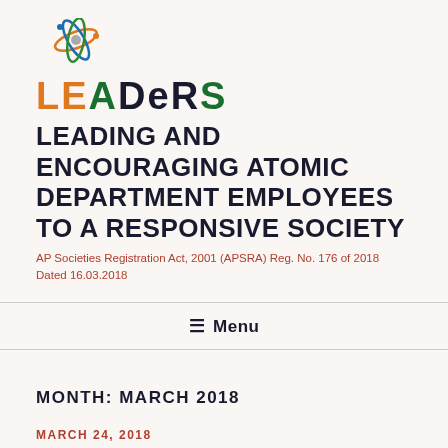[Figure (logo): LEADERS atomic/science logo with orbit rings around a sphere, in blue and orange]
LEADERS
LEADING AND ENCOURAGING ATOMIC DEPARTMENT EMPLOYEES TO A RESPONSIVE SOCIETY
AP Societies Registration Act, 2001 (APSRA) Reg. No. 176 of 2018 Dated 16.03.2018
≡ Menu
MONTH: MARCH 2018
MARCH 24, 2018